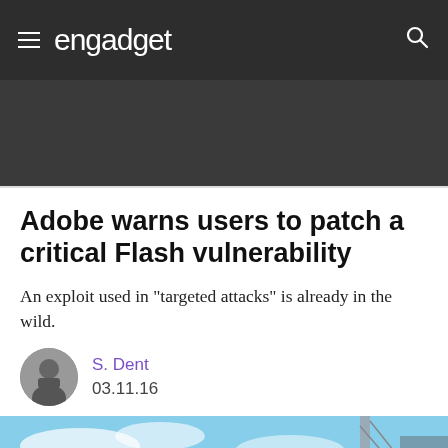engadget
Adobe warns users to patch a critical Flash vulnerability
An exploit used in "targeted attacks" is already in the wild.
S. Dent
03.11.16
[Figure (photo): Bottom image strip showing sky with clouds and a partial view of a structure with cables]